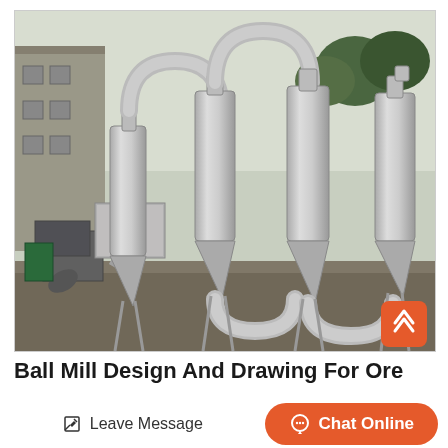[Figure (photo): Photograph of large industrial cyclone separator equipment — multiple tall metallic silver cyclone tubes arranged in series with U-bends at top and bottom, connected to ductwork, positioned outdoors next to a building]
Ball Mill Design And Drawing For Ore
Leave Message
Chat Online